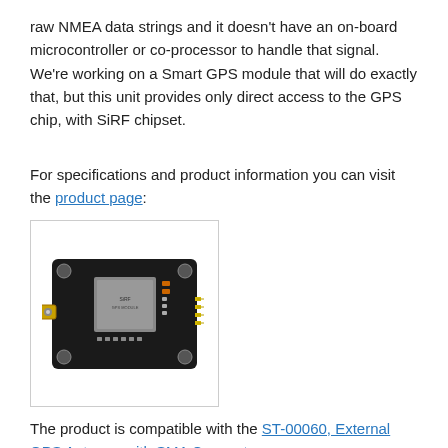raw NMEA data strings and it doesn't have an on-board microcontroller or co-processor to handle that signal. We're working on a Smart GPS module that will do exactly that, but this unit provides only direct access to the GPS chip, with SiRF chipset.
For specifications and product information you can visit the product page:
[Figure (photo): GPS module PCB with SiRF chipset, black board with white corner mounting holes, SMA connector on the left, and header pins on the right]
The product is compatible with the ST-00060, External GPS Antenna with SMA Connector: